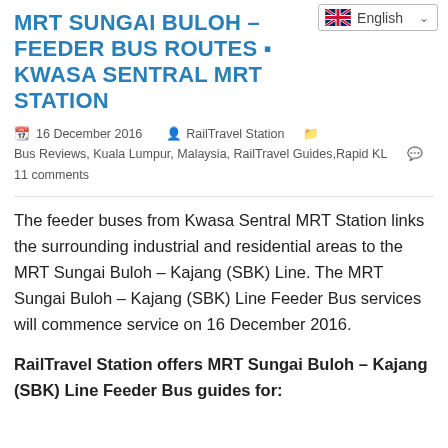MRT SUNGAI BULOH – FEEDER BUS ROUTES ▪ KWASA SENTRAL MRT STATION
16 December 2016   RailTravel Station   Bus Reviews, Kuala Lumpur, Malaysia, RailTravel Guides, Rapid KL   11 comments
The feeder buses from Kwasa Sentral MRT Station links the surrounding industrial and residential areas to the MRT Sungai Buloh – Kajang (SBK) Line. The MRT Sungai Buloh – Kajang (SBK) Line Feeder Bus services will commence service on 16 December 2016.
RailTravel Station offers MRT Sungai Buloh – Kajang (SBK) Line Feeder Bus guides for: